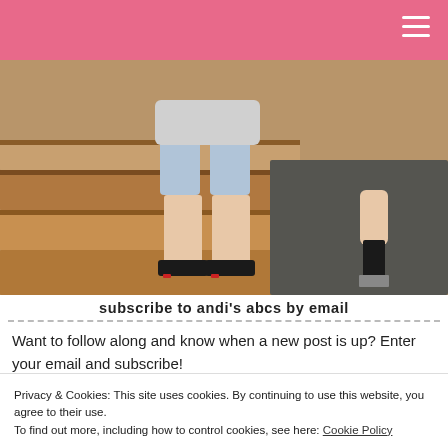[Figure (photo): A person standing on wooden stairs wearing denim cutoff shorts, a gray t-shirt, and black flip flops with red nail polish. Another person's hand holding a black brush is visible on the right side.]
subscribe to andi's abcs by email
Want to follow along and know when a new post is up? Enter your email and subscribe!
Privacy & Cookies: This site uses cookies. By continuing to use this website, you agree to their use.
To find out more, including how to control cookies, see here: Cookie Policy
Close and accept